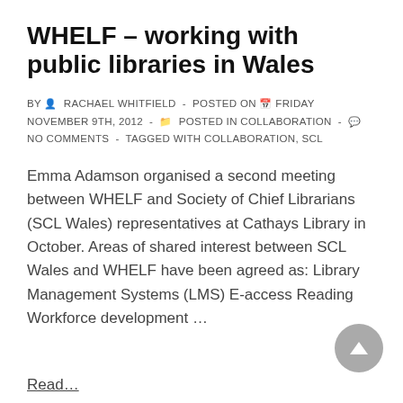WHELF – working with public libraries in Wales
BY  RACHAEL WHITFIELD  -  POSTED ON  FRIDAY NOVEMBER 9TH, 2012  -   POSTED IN COLLABORATION  -   NO COMMENTS  -  TAGGED WITH COLLABORATION, SCL
Emma Adamson organised a second meeting between WHELF and Society of Chief Librarians (SCL Wales) representatives at Cathays Library in October. Areas of shared interest between SCL Wales and WHELF have been agreed as: Library Management Systems (LMS) E-access Reading Workforce development …
Read…